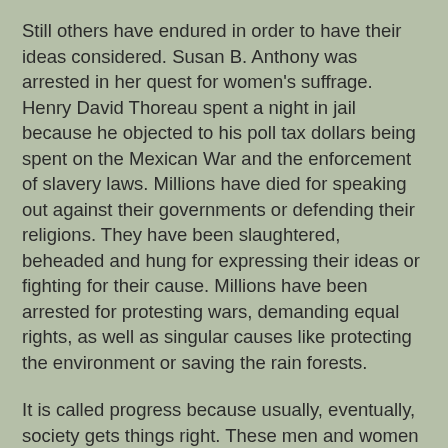Still others have endured in order to have their ideas considered. Susan B. Anthony was arrested in her quest for women's suffrage. Henry David Thoreau spent a night in jail because he objected to his poll tax dollars being spent on the Mexican War and the enforcement of slavery laws. Millions have died for speaking out against their governments or defending their religions. They have been slaughtered, beheaded and hung for expressing their ideas or fighting for their cause. Millions have been arrested for protesting wars, demanding equal rights, as well as singular causes like protecting the environment or saving the rain forests.
It is called progress because usually, eventually, society gets things right. These men and women were ultimately right; it just took awhile for people to erase their prejudices, biases and fears. Where once tyranny ruled, democracy is preferred. Whereas once only a few believed in equal rights for minorities, now one is labeled a racist if he or she does not believe it. Most women are now educated and work, no longer is their "place" in the kitchen. We've come a long way in the last few hundred years, but there is still a lot to...